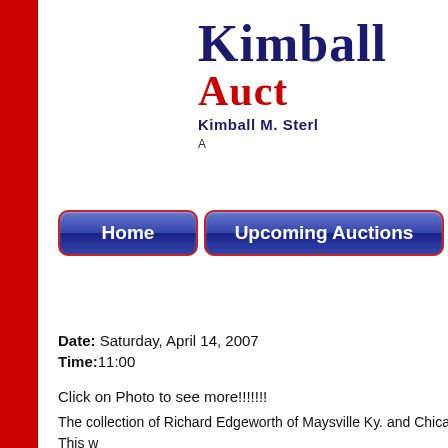Kimball Auctions - Kimball M. Sterling
[Figure (logo): Kimball Auctions logo with red sidebar, dark blue KIMBALL text, red AUCTION text, and subtitle Kimball M. Sterling]
Date: Saturday, April 14, 2007
Time: 11:00
Click on Photo to see more!!!!!!!
The collection of Richard Edgeworth of Maysville Ky. and Chicago. This w... Minnie Atkins pottery,Charlie Kinney, J.P. Scott,Mose Toliver,Tim Cooper,... Burnside,and much more to be listed later.